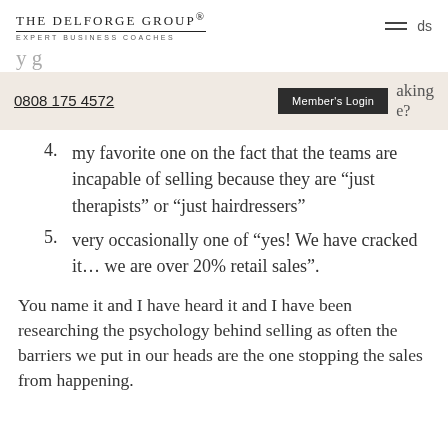THE DELFORGE GROUP® EXPERT BUSINESS COACHES
ds
aking
e?
0808 175 4572   Member's Login
4. my favorite one on the fact that the teams are incapable of selling because they are "just therapists" or "just hairdressers"
5. very occasionally one of "yes! We have cracked it... we are over 20% retail sales".
You name it and I have heard it and I have been researching the psychology behind selling as often the barriers we put in our heads are the one stopping the sales from happening.